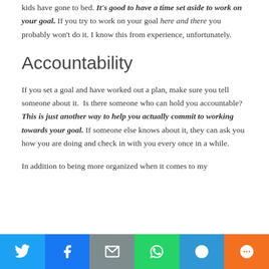kids have gone to bed. It's good to have a time set aside to work on your goal. If you try to work on your goal here and there you probably won't do it. I know this from experience, unfortunately.
Accountability
If you set a goal and have worked out a plan, make sure you tell someone about it.  Is there someone who can hold you accountable?  This is just another way to help you actually commit to working towards your goal. If someone else knows about it, they can ask you how you are doing and check in with you every once in a while.
In addition to being more organized when it comes to my
[Figure (infographic): Social sharing bar with Twitter, Facebook, Email, WhatsApp, SMS, and More buttons]